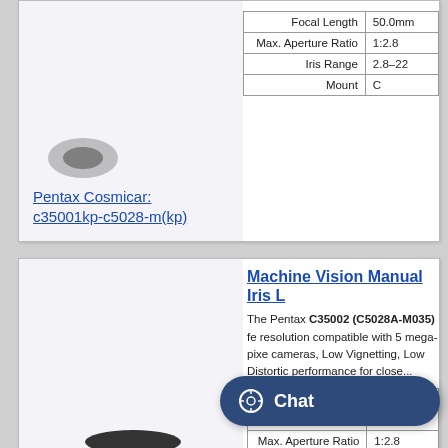[Figure (photo): Partial view of top product card for Pentax Cosmicar c35001kp-c5028-m(kp) lens with truncated spec table showing Focal Length 50.0mm, Max. Aperture Ratio 1:2.8, Iris Range 2.8–22, Mount C]
Pentax Cosmicar: c35001kp-c5028-m(kp)
|  |  |
| --- | --- |
| Focal Length | 50.0mm |
| Max. Aperture Ratio | 1:2.8 |
| Iris Range | 2.8–22 |
| Mount | C |
Machine Vision Manual Iris L
The Pentax C35002 (C5028A-M035) fe resolution compatible with 5 mega-pixe cameras, Low Vignetting, Low Distortic performance for close...
|  |  |
| --- | --- |
| Format Size | 2/3 for |
| Focal Length | 50mm |
| Max. Aperture Ratio | 1:2.8 |
| Iris Range | 2.8–22 |
| Mount | C |
[Figure (photo): Ricoh/Pentax C35002 machine vision lens, black cylindrical body with focus and aperture rings]
Pentax Cosmicar: c35002
Machine Visi... L
The Pentax C35003KP (C5028A-M02)